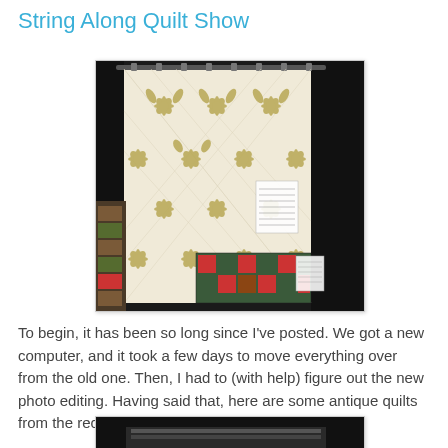String Along Quilt Show
[Figure (photo): A large antique cream-colored quilt with golden/olive floral and star appliqué patterns, hanging on a display rod. In the lower right, another folded quilt with red and green patterns is visible.]
To begin, it has been so long since I've posted. We got a new computer, and it took a few days to move everything over from the old one. Then, I had to (with help) figure out the new photo editing. Having said that, here are some antique quilts from the recent show.
[Figure (photo): Partial view of another quilt display at the show, dark background visible.]